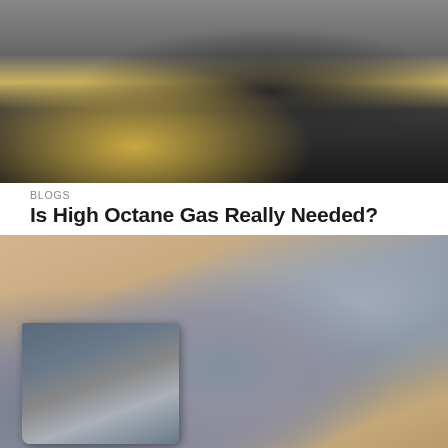[Figure (photo): Woman at gas station pumping fuel into a dark vehicle, outdoor daylight scene]
BLOGS
Is High Octane Gas Really Needed?
[Figure (photo): Close-up macro photograph of spark plugs on a warm brown background, metallic threading and electrode visible]
BLOGS
Mind the Gap When Changing Out Spark Plugs